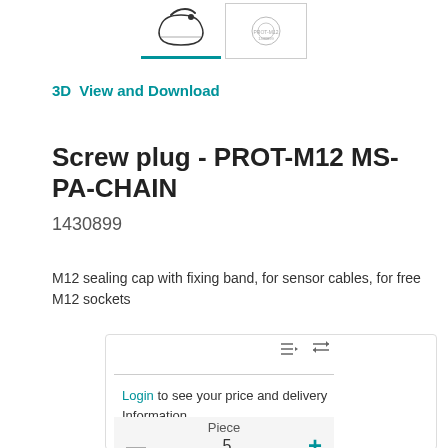[Figure (photo): Product thumbnail images of screw plug - main image with teal underline active, and a secondary diagram thumbnail]
3D   View and Download
Screw plug - PROT-M12 MS-PA-CHAIN
1430899
M12 sealing cap with fixing band, for sensor cables, for free M12 sockets
Login to see your price and delivery Information
Piece
5